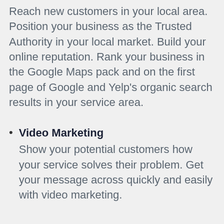Reach new customers in your local area. Position your business as the Trusted Authority in your local market. Build your online reputation. Rank your business in the Google Maps pack and on the first page of Google and Yelp's organic search results in your service area.
Video Marketing
Show your potential customers how your service solves their problem. Get your message across quickly and easily with video marketing.